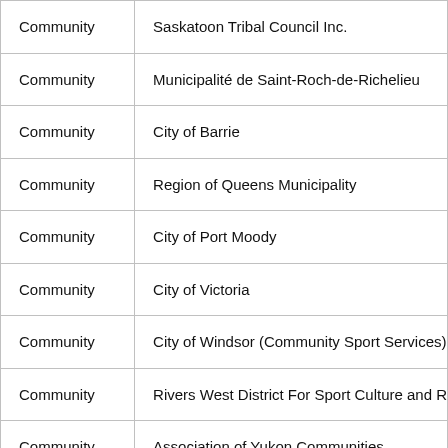| Community | Saskatoon Tribal Council Inc. |
| Community | Municipalité de Saint-Roch-de-Richelieu |
| Community | City of Barrie |
| Community | Region of Queens Municipality |
| Community | City of Port Moody |
| Community | City of Victoria |
| Community | City of Windsor (Community Sport Services) |
| Community | Rivers West District For Sport Culture and Rec |
| Community | Association of Yukon Communities |
| Community | Town of Trochu |